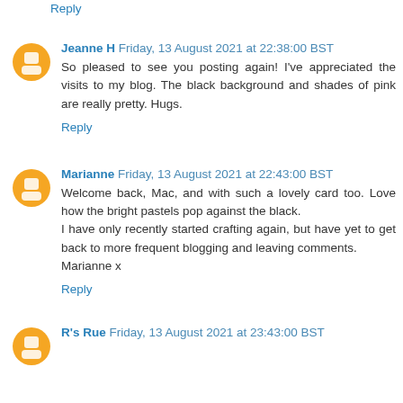Reply
Jeanne H  Friday, 13 August 2021 at 22:38:00 BST
So pleased to see you posting again! I've appreciated the visits to my blog. The black background and shades of pink are really pretty. Hugs.
Reply
Marianne  Friday, 13 August 2021 at 22:43:00 BST
Welcome back, Mac, and with such a lovely card too. Love how the bright pastels pop against the black.
I have only recently started crafting again, but have yet to get back to more frequent blogging and leaving comments.
Marianne x
Reply
R's Rue  Friday, 13 August 2021 at 23:43:00 BST